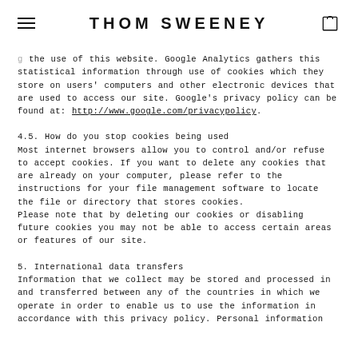THOM SWEENEY
the use of this website. Google Analytics gathers this statistical information through use of cookies which they store on users' computers and other electronic devices that are used to access our site. Google's privacy policy can be found at: http://www.google.com/privacypolicy.
4.5. How do you stop cookies being used
Most internet browsers allow you to control and/or refuse to accept cookies. If you want to delete any cookies that are already on your computer, please refer to the instructions for your file management software to locate the file or directory that stores cookies.
Please note that by deleting our cookies or disabling future cookies you may not be able to access certain areas or features of our site.
5. International data transfers
Information that we collect may be stored and processed in and transferred between any of the countries in which we operate in order to enable us to use the information in accordance with this privacy policy. Personal information